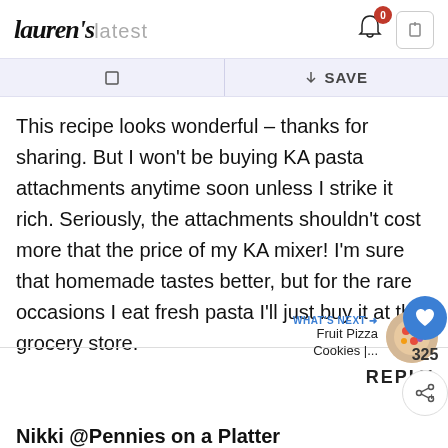lauren's latest
□  □ SAVE
This recipe looks wonderful – thanks for sharing. But I won't be buying KA pasta attachments anytime soon unless I strike it rich. Seriously, the attachments shouldn't cost more that the price of my KA mixer! I'm sure that homemade tastes better, but for the rare occasions I eat fresh pasta I'll just buy it at the grocery store.
WHAT'S NEXT → Fruit Pizza Cookies |...
REPLY
Nikki @Pennies on a Platter